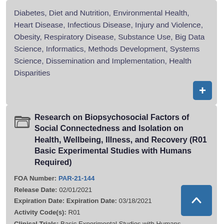Diabetes, Diet and Nutrition, Environmental Health, Heart Disease, Infectious Disease, Injury and Violence, Obesity, Respiratory Disease, Substance Use, Big Data Science, Informatics, Methods Development, Systems Science, Dissemination and Implementation, Health Disparities
Research on Biopsychosocial Factors of Social Connectedness and Isolation on Health, Wellbeing, Illness, and Recovery (R01 Basic Experimental Studies with Humans Required)
FOA Number: PAR-21-144
Release Date: 02/01/2021
Expiration Date: Expiration Date: 03/18/2021
Activity Code(s): R01
Clinical Trials: Basic Experimental Studies with Humans (BESH) Required